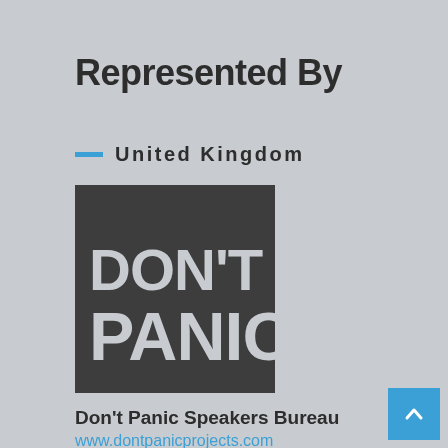Represented By
— United Kingdom
[Figure (logo): Don't Panic logo: dark grey square with white bold text reading 'DON'T PANIC' in two lines]
Don't Panic Speakers Bureau
www.dontpanicprojects.com
— International